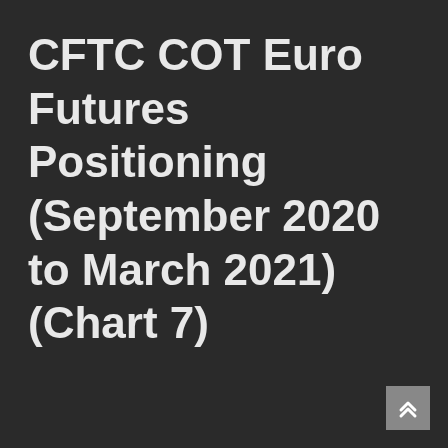CFTC COT Euro Futures Positioning (September 2020 to March 2021) (Chart 7)